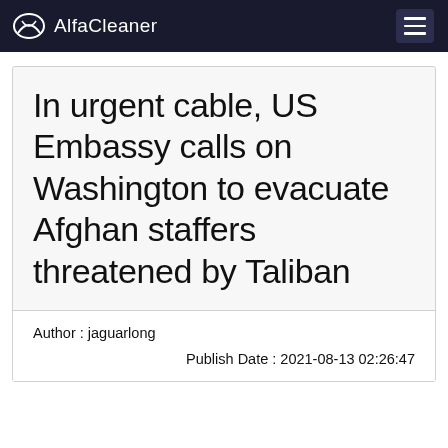AlfaCleaner
In urgent cable, US Embassy calls on Washington to evacuate Afghan staffers threatened by Taliban
Author : jaguarlong
Publish Date : 2021-08-13 02:26:47